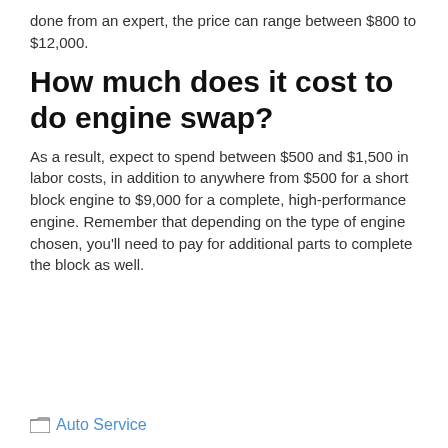done from an expert, the price can range between $800 to $12,000.
How much does it cost to do engine swap?
As a result, expect to spend between $500 and $1,500 in labor costs, in addition to anywhere from $500 for a short block engine to $9,000 for a complete, high-performance engine. Remember that depending on the type of engine chosen, you’ll need to pay for additional parts to complete the block as well.
Auto Service